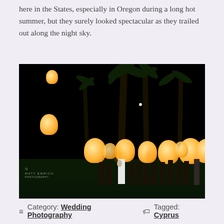here in the States, especially in Oregon during a long hot summer, but they surely looked spectacular as they trailed out along the night sky.
[Figure (photo): Nighttime outdoor wedding scene with many white sky lanterns being released by guests. Palm trees visible against a dark night sky, with glowing lanterns rising into the air. A watermark reading 'MATT EMRICH PHOTOGRAPHY' is visible in the lower left corner.]
☰ Category: Wedding Photography 🏷 Tagged: Cyprus